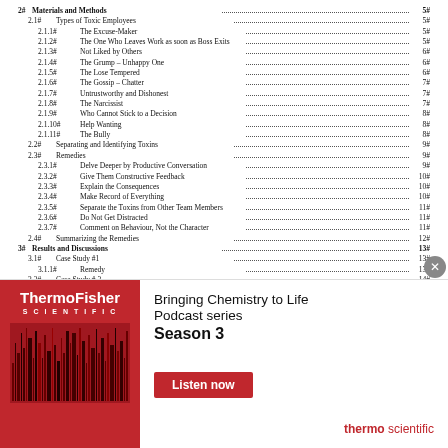2# Materials and Methods ... 5#
2.1# Types of Toxic Employees ... 5#
2.1.1# The Excuse-Maker ... 5#
2.1.2# The One Who Leaves Work as soon as Boss Exits ... 5#
2.1.3# Not Liked by Others ... 6#
2.1.4# The Grump – Unhappy One ... 6#
2.1.5# The Lose Tempered ... 6#
2.1.6# The Gossip – Chatter ... 7#
2.1.7# Untrustworthy and Dishonest ... 7#
2.1.8# The Narcissist ... 7#
2.1.9# Who Cannot Stick to a Decision ... 8#
2.1.10# Help Wanting ... 8#
2.1.11# The Bully ... 8#
2.2# Separating and Identifying Toxins ... 9#
2.3# Remedies ... 9#
2.3.1# Delve Deeper by Productive Conversation ... 9#
2.3.2# Give Them Constructive Feedback ... 10#
2.3.3# Explain the Consequences ... 10#
2.3.4# Make Record of Everything ... 10#
2.3.5# Separate the Toxins from Other Team Members ... 11#
2.3.6# Do Not Get Distracted ... 11#
2.3.7# Comment on Behaviour, Not the Character ... 11#
2.4# Summarizing the Remedies ... 12#
3# Results and Discussions ... 13#
3.1# Case Study #1 ... 13#
3.1.1# Remedy ... 13#
3.2# Case Study #2 ... 14#
[Figure (infographic): ThermoFisher Scientific advertisement banner: red background on left with ThermoFisher Scientific logo and barcode graphic, right side white with text 'Bringing Chemistry to Life Podcast series Season 3' and red 'Listen now' button, 'thermo scientific' branding bottom right.]